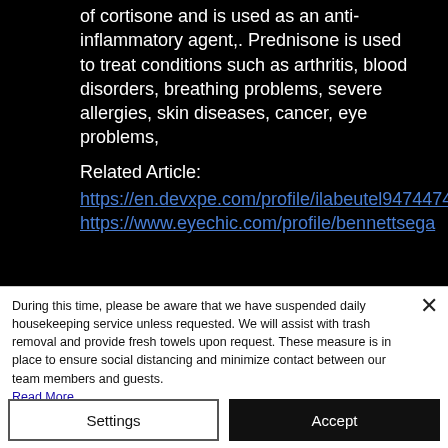of cortisone and is used as an anti-inflammatory agent,. Prednisone is used to treat conditions such as arthritis, blood disorders, breathing problems, severe allergies, skin diseases, cancer, eye problems,
Related Article:
https://en.devxpe.com/profile/ilabeutel9474474/profile
https://www.eyechic.com/profile/bennettsega
During this time, please be aware that we have suspended daily housekeeping service unless requested. We will assist with trash removal and provide fresh towels upon request. These measure is in place to ensure social distancing and minimize contact between our team members and guests. Read More.